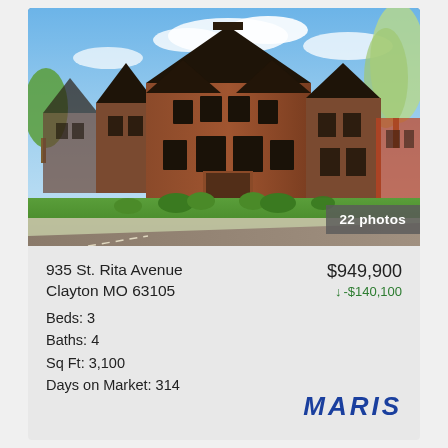[Figure (illustration): Architectural rendering of a row of brick townhomes with dark trim, landscaped front yard, blue sky background]
22 photos
935 St. Rita Avenue
Clayton MO 63105
Beds: 3
Baths: 4
Sq Ft: 3,100
Days on Market: 314
$949,900
↓ -$140,100
MARIS